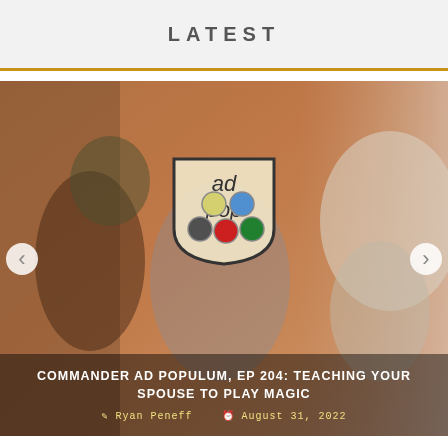LATEST
[Figure (illustration): Carousel image showing fantasy artwork of a robed figure with a green turban gesturing, and a large stone creature, with an 'ad pop' shield logo overlay. Navigation arrows on left and right sides.]
COMMANDER AD POPULUM, EP 204: TEACHING YOUR SPOUSE TO PLAY MAGIC
Ryan Peneff   August 31, 2022